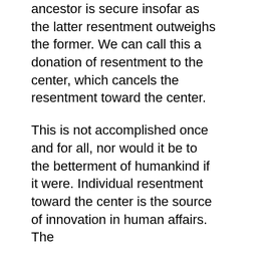ancestor is secure insofar as the latter resentment outweighs the former. We can call this a donation of resentment to the center, which cancels the resentment toward the center.
This is not accomplished once and for all, nor would it be to the betterment of humankind if it were. Individual resentment toward the center is the source of innovation in human affairs. The